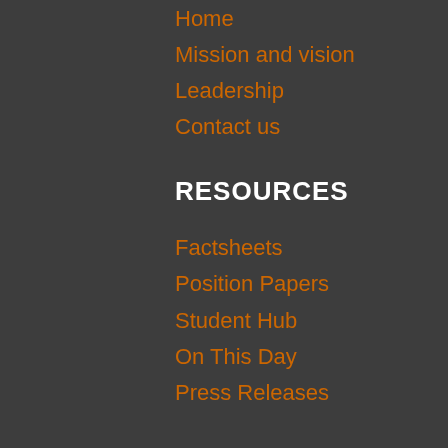Home
Mission and vision
Leadership
Contact us
RESOURCES
Factsheets
Position Papers
Student Hub
On This Day
Press Releases
GET INVOLVED
Donate
Volunteer
Internships